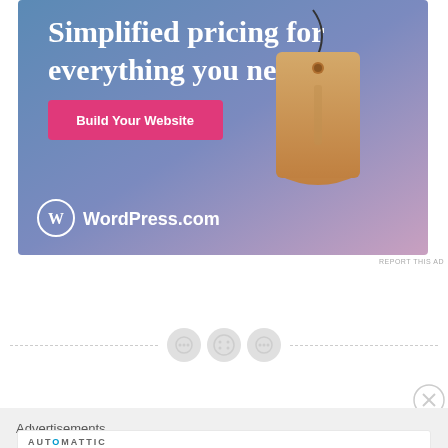[Figure (illustration): WordPress.com advertisement banner with gradient blue-purple background, price tag graphic, text 'Simplified pricing for everything you need.', pink 'Build Your Website' button, and WordPress.com logo at bottom left.]
REPORT THIS AD
[Figure (other): Three circular dot/button icons centered on a dashed horizontal divider line]
[Figure (other): Circle X close button]
Advertisements
[Figure (other): Automattic advertisement card with text 'Build a better web and a better world.']